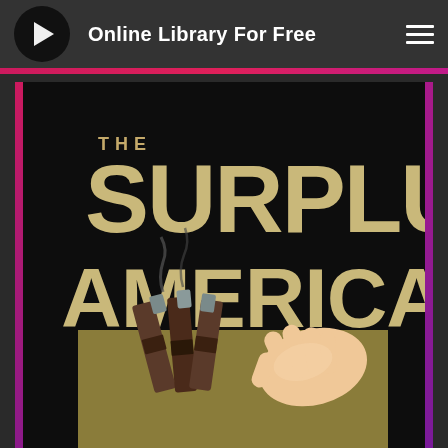Online Library For Free
[Figure (illustration): Book cover for 'The Surplus American' showing large text title on black background with an illustration of a hand reaching for or handling tools/implements at the bottom]